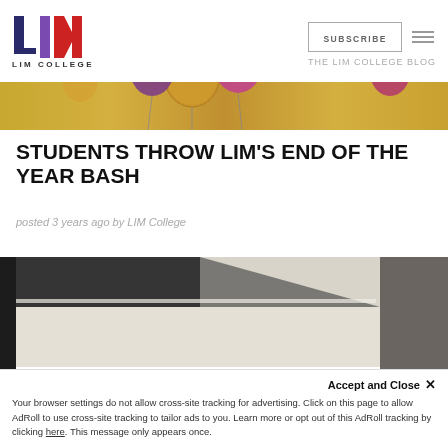[Figure (screenshot): LIM College website header with logo, SUBSCRIBE button, hamburger menu, and THE LIM COLLEGE BLOG label]
[Figure (photo): Decorative party balloons in gold, purple, and pink tones on a warm golden background — hero banner image]
STUDENTS THROW LIM'S END OF THE YEAR BASH
posted 3 years ago by LIM College
[Figure (photo): Abstract architectural interior photo showing geometric shapes in dark gray and cream/beige tones]
Accept and Close ×
Your browser settings do not allow cross-site tracking for advertising. Click on this page to allow AdRoll to use cross-site tracking to tailor ads to you. Learn more or opt out of this AdRoll tracking by clicking here. This message only appears once.